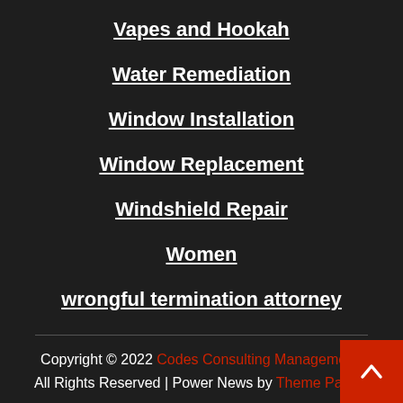Vapes and Hookah
Water Remediation
Window Installation
Window Replacement
Windshield Repair
Women
wrongful termination attorney
Copyright © 2022 Codes Consulting Management. All Rights Reserved | Power News by Theme Palace